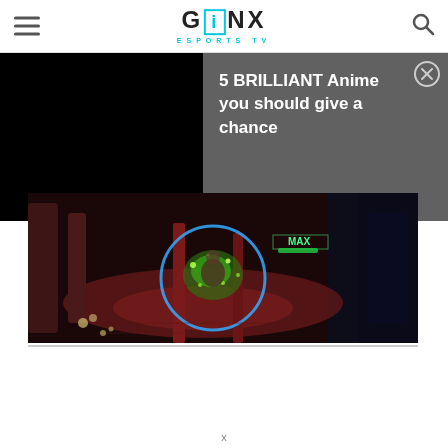GINX ESPORTS TV
[Figure (screenshot): Ad overlay with black video area on left and dark gray panel on right showing text '5 BRILLIANT Anime you should give a chance' with close button]
[Figure (screenshot): Game screenshot showing a top-down RPG/MOBA scene with a character surrounded by a blue circle, green effects, red architectural environment, dark background on right side]
x